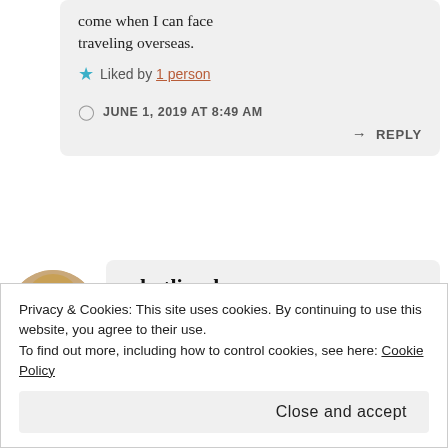come when I can face traveling overseas.
Liked by 1 person
JUNE 1, 2019 AT 8:49 AM
REPLY
[Figure (photo): Round avatar photo of a blonde woman smiling]
whatlizzyloves
Privacy & Cookies: This site uses cookies. By continuing to use this website, you agree to their use.
To find out more, including how to control cookies, see here: Cookie Policy
Close and accept
Instagram post photo of